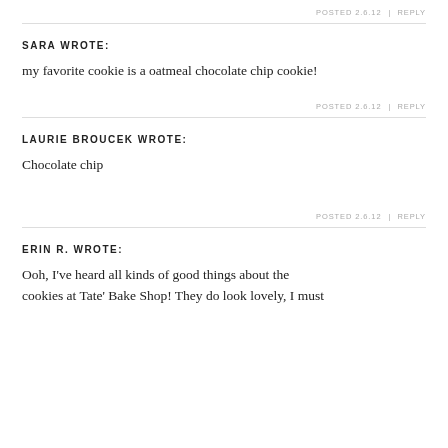POSTED 2.6.12  |  REPLY
SARA WROTE:
my favorite cookie is a oatmeal chocolate chip cookie!
POSTED 2.6.12  |  REPLY
LAURIE BROUCEK WROTE:
Chocolate chip
POSTED 2.6.12  |  REPLY
ERIN R. WROTE:
Ooh, I've heard all kinds of good things about the cookies at Tate' Bake Shop! They do look lovely, I must